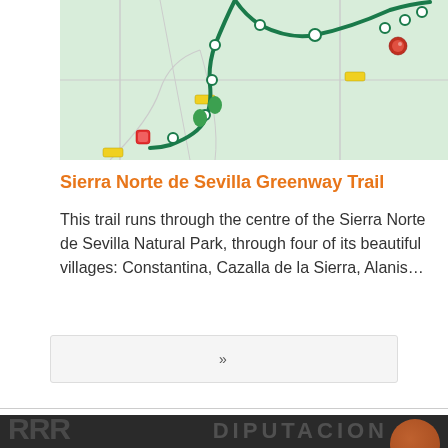[Figure (map): Map showing Sierra Norte de Sevilla Greenway Trail route through natural park villages, with green trail line and location markers on a light green topographic background]
Sierra Norte de Sevilla Greenway Trail
This trail runs through the centre of the Sierra Norte de Sevilla Natural Park, through four of its beautiful villages: Constantina, Cazalla de la Sierra, Alanis…
[Figure (other): Pagination navigation control showing >> arrows on grey background]
[Figure (logo): Footer with dark background showing DIPUTACION text watermark, orange circle logo, and partial dark text logo on left]